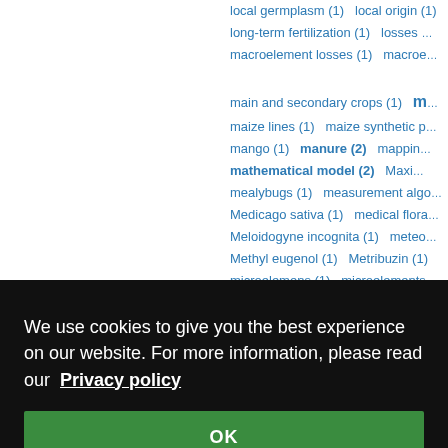local germplasm (1)   local origin (1)
long-term fertilization (1)   losses …
macroelement losses (1)   macroe…

main and secondary crops (1)   m…
maize lines (1)   maize synthetic p…
mango (1)   manure (2)   mappin…
mathematical model (2)   Maxi…
mealybugs (1)   measurement algo…
Medicago sativa (1)   medical flora…
Meloidogyne incognita (1)   meteo…
Methyl eugenol (1)   Metribuzin (1)
microelemens (1)   microelements…
…(1)   mild…
fertilizati…
…(1)   missin…
…(1)   moist…
nomic sign…
ers (1)   mo…
us spp. (2)
genesis (1)
es (1)   my…
NATURE 20…
net income (1)   Nevrokop ecotyp…
We use cookies to give you the best experience on our website. For more information, please read our Privacy policy
OK